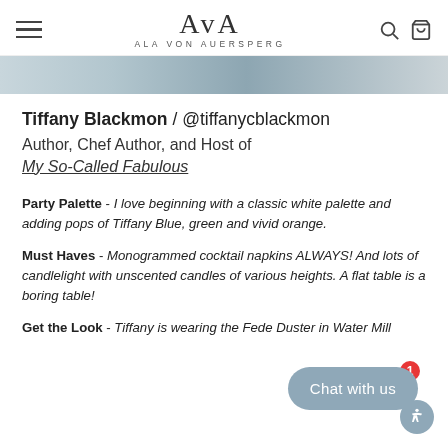AvA / ALA VON AUERSPERG
[Figure (photo): Partial hero image strip showing a light blue/grey lifestyle photo]
Tiffany Blackmon / @tiffanycblackmon
Author, Chef Author, and Host of My So-Called Fabulous
Party Palette - I love beginning with a classic white palette and adding pops of Tiffany Blue, green and vivid orange.
Must Haves - Monogrammed cocktail napkins ALWAYS! And lots of candlelight with unscented candles of various heights. A flat table is a boring table!
Get the Look - Tiffany is wearing the Fede Duster in Water Mill